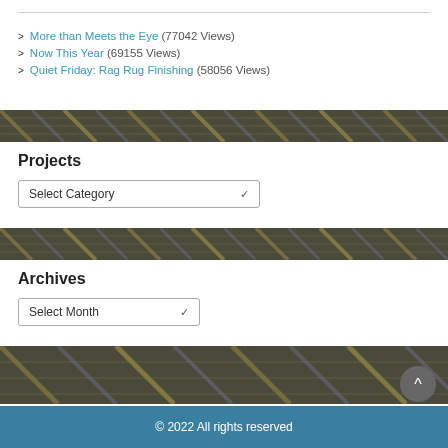> More than Meets the Eye (77042 Views)
> Now This Year (69155 Views)
> Quiet Friday: Rag Rug Finishing (58056 Views)
Projects
Select Category
Archives
Select Month
© 2022 All rights reserved